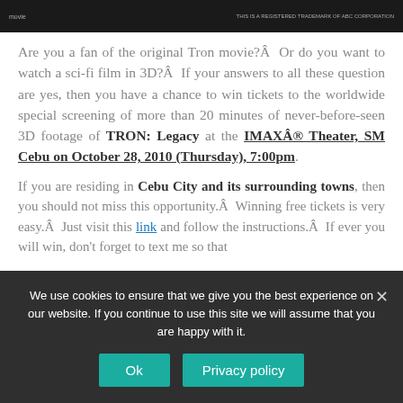Are you a fan of the original Tron movie?Â  Or do you want to watch a sci-fi film in 3D?Â  If your answers to all these question are yes, then you have a chance to win tickets to the worldwide special screening of more than 20 minutes of never-before-seen 3D footage of TRON: Legacy at the IMAXÂ® Theater, SM Cebu on October 28, 2010 (Thursday), 7:00pm.
If you are residing in Cebu City and its surrounding towns, then you should not miss this opportunity.Â  Winning free tickets is very easy.Â  Just visit this link and follow the instructions.Â  If ever you will win, don't forget to text me so that
We use cookies to ensure that we give you the best experience on our website. If you continue to use this site we will assume that you are happy with it.